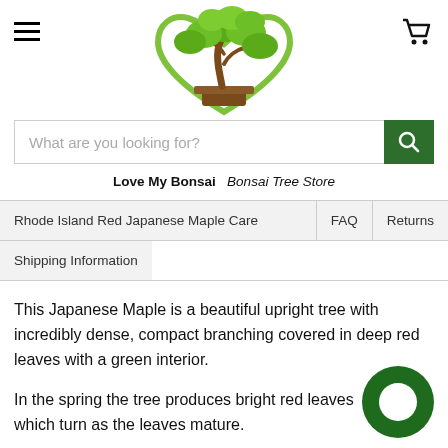[Figure (logo): Love My Bonsai logo: a bonsai tree inside a heart outline, green leaves, brown trunk and pot]
What are you looking for?
Love My Bonsai   Bonsai Tree Store
Rhode Island Red Japanese Maple Care
FAQ
Returns
Shipping Information
This Japanese Maple is a beautiful upright tree with incredibly dense, compact branching covered in deep red leaves with a green interior.
In the spring the tree produces bright red leaves which turn as the leaves mature.